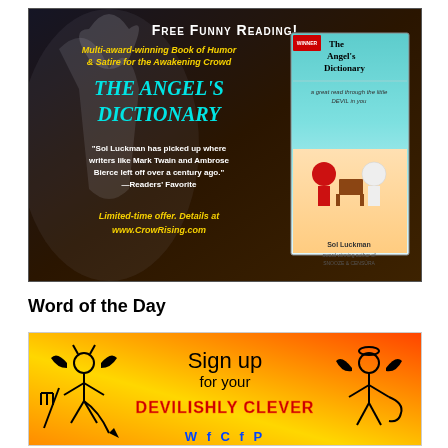[Figure (illustration): Advertisement banner for 'The Angel's Dictionary' by Sol Luckman. Dark background with angel silhouette. Text: 'Free Funny Reading! Multi-award-winning Book of Humor & Satire for the Awakening Crowd', 'THE ANGEL'S DICTIONARY', quote from Readers' Favorite about Sol Luckman picking up where Mark Twain and Ambrose Bierce left off, 'Limited-time offer. Details at www.CrowRising.com'. Book cover shown on right side.]
Word of the Day
[Figure (illustration): Advertisement for 'Devilishly Clever' word of the day sign-up. Orange/fire gradient background with cartoon devil and angel stick figures on sides. Text: 'Sign up for your DEVILISHLY CLEVER' with blue text below.]